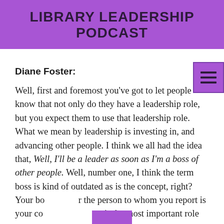LIBRARY LEADERSHIP PODCAST
Diane Foster:
Well, first and foremost you've got to let people know that not only do they have a leadership role, but you expect them to use that leadership role. What we mean by leadership is investing in, and advancing other people. I think we all had the idea that, Well, I'll be a leader as soon as I'm a boss of other people. Well, number one, I think the term boss is kind of outdated as is the concept, right? Your boss or the person to whom you report is your coach. That's the most important role that a supervisor can have.